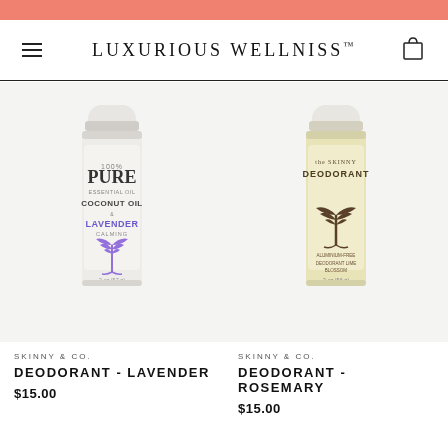LUXURIOUS WELLNISS™
[Figure (photo): Skinny & Co. deodorant stick in lavender scent with white/silver packaging and purple palm tree illustration, on light gray background]
SKINNY & CO.
DEODORANT - LAVENDER
$15.00
[Figure (photo): Skinny & Co. the Skinny deodorant in rosemary scent with yellow/cream packaging and dark palm tree illustration, on light gray background]
SKINNY & CO.
DEODORANT - ROSEMARY
$15.00